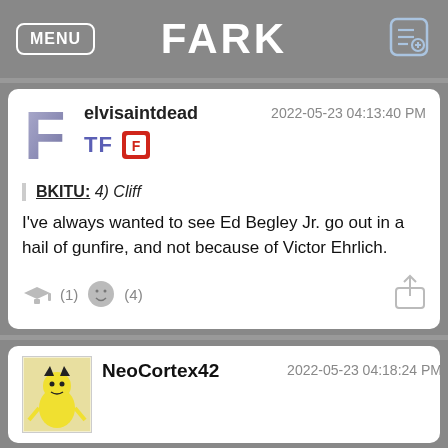FARK
elvisaintdead
2022-05-23 04:13:40 PM
BKITU: 4) Cliff
I've always wanted to see Ed Begley Jr. go out in a hail of gunfire, and not because of Victor Ehrlich.
(1) (4)
NeoCortex42
2022-05-23 04:18:24 PM